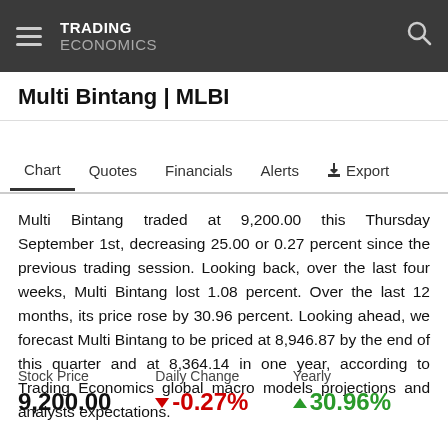TRADING ECONOMICS
Multi Bintang | MLBI
Chart   Quotes   Financials   Alerts   Export
Multi Bintang traded at 9,200.00 this Thursday September 1st, decreasing 25.00 or 0.27 percent since the previous trading session. Looking back, over the last four weeks, Multi Bintang lost 1.08 percent. Over the last 12 months, its price rose by 30.96 percent. Looking ahead, we forecast Multi Bintang to be priced at 8,946.87 by the end of this quarter and at 8,364.14 in one year, according to Trading Economics global macro models projections and analysts expectations.
| Stock Price | Daily Change | Yearly |
| --- | --- | --- |
| 9,200.00 | ▼ -0.27% | ▲ 30.96% |